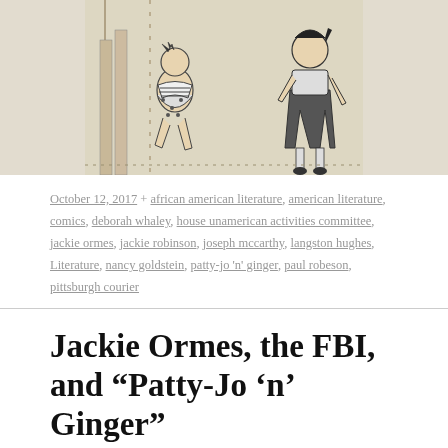[Figure (illustration): Black and white ink illustration showing two figures - one crouching near a wooden fence/door wearing a polka dot skirt, and another standing figure wearing a pleated skirt and knee socks]
October 12, 2017 + african american literature, american literature, comics, deborah whaley, house unamerican activities committee, jackie ormes, jackie robinson, joseph mccarthy, langston hughes, Literature, nancy goldstein, patty-jo 'n' ginger, paul robeson, pittsburgh courier
Jackie Ormes, the FBI, and “Patty-Jo ‘n’ Ginger”
by Matthew Teutsch